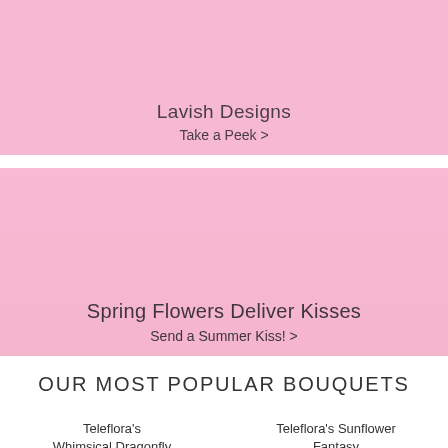[Figure (illustration): Pink banner with 'Lavish Designs' heading and 'Take a Peek >' subtext]
[Figure (illustration): Pink gradient banner with 'Spring Flowers Deliver Kisses' heading and 'Send a Summer Kiss! >' subtext]
OUR MOST POPULAR BOUQUETS
Teleflora's Whimsical Dragonfly Bouquet
Teleflora's Sunflower Fantasy
$65.00